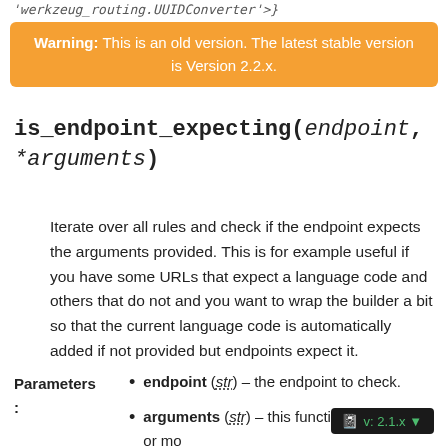'werkzeug_routing.UUIDConverter'>}
Warning: This is an old version. The latest stable version is Version 2.2.x.
is_endpoint_expecting(endpoint, *arguments)
Iterate over all rules and check if the endpoint expects the arguments provided. This is for example useful if you have some URLs that expect a language code and others that do not and you want to wrap the builder a bit so that the current language code is automatically added if not provided but endpoints expect it.
endpoint (str) – the endpoint to check.
arguments (str) – this function accepts one or more arguments as positional arguments. Each one of them is checked.